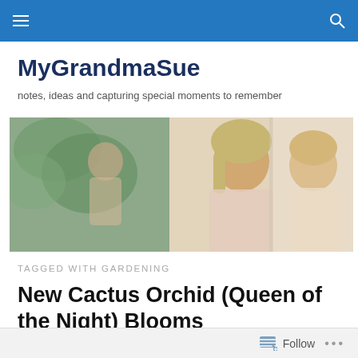MyGrandmaSue blog navigation bar
MyGrandmaSue
notes, ideas and capturing special moments to remember
[Figure (photo): A grandmother and a young baby/toddler looking through a window together, with greenery visible outside.]
TAGGED WITH GARDENING
New Cactus Orchid (Queen of the Night) Blooms
Follow